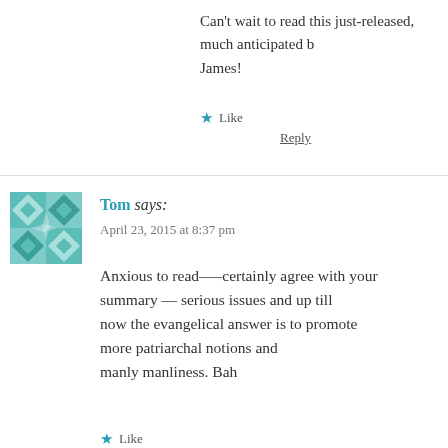Can't wait to read this just-released, much anticipated b… James!
★ Like
Reply
Tom says: April 23, 2015 at 8:37 pm
Anxious to read—–certainly agree with your summary — serious issues and up till now the evangelical answer is to promote more patriarchal notions and manly manliness. Bah
★ Like
Reply